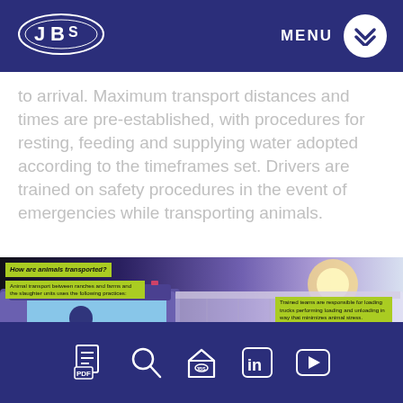[Figure (logo): JBS company logo in white on dark navy header]
to arrival. Maximum transport distances and times are pre-established, with procedures for resting, feeding and supplying water adopted according to the timeframes set. Drivers are trained on safety procedures in the event of emergencies while transporting animals.
[Figure (infographic): Infographic about animal transport showing a truck cab with text: 'How are animals transported? Animal transport between ranches and farms and the slaughter units uses the following practices:' and 'Trained teams are responsible for loading trucks performing loading and unloading in way that minimizes animal stress.']
PDF | Search | JBS Home | LinkedIn | YouTube